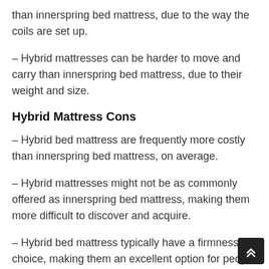than innerspring bed mattress, due to the way the coils are set up.
– Hybrid mattresses can be harder to move and carry than innerspring bed mattress, due to their weight and size.
Hybrid Mattress Cons
– Hybrid bed mattress are frequently more costly than innerspring bed mattress, on average.
– Hybrid mattresses might not be as commonly offered as innerspring bed mattress, making them more difficult to discover and acquire.
– Hybrid bed mattress typically have a firmness choice, making them an excellent option for people who require extra support.